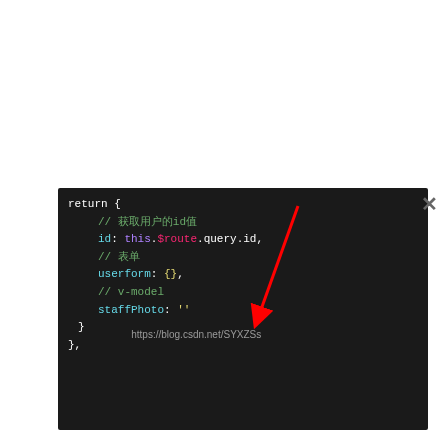[Figure (screenshot): Code screenshot showing Vue.js data() return block with id, userform, staffPhoto properties, annotated with a red arrow pointing to staffPhoto. Watermark: https://blog.csdn.net/SYXZSs]
II: then use props in the sub component to receive:
[Figure (screenshot): Gray placeholder box representing a code screenshot]